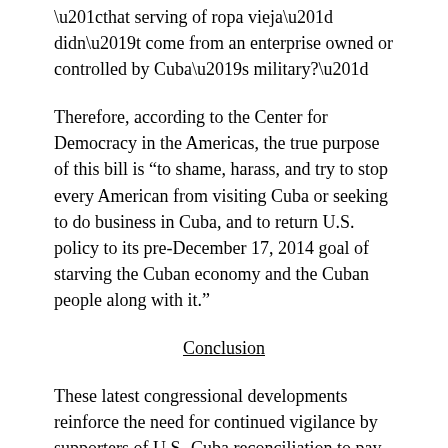“that serving of ropa vieja” didn’t come from an enterprise owned or controlled by Cuba’s military?”
Therefore, according to the Center for Democracy in the Americas, the true purpose of this bill is “to shame, harass, and try to stop every American from visiting Cuba or seeking to do business in Cuba, and to return U.S. policy to its pre-December 17, 2014 goal of starving the Cuban economy and the Cuban people along with it.”
Conclusion
These latest congressional developments reinforce the need for continued vigilance by supporters of U.S.-Cuba reconciliation to pay attention to what is happening in Congress and to continue to express their opinions on these issues to their representatives in that body and to the larger community.